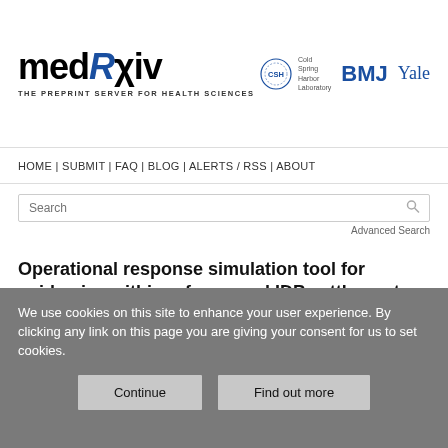[Figure (logo): medRxiv logo with tagline 'THE PREPRINT SERVER FOR HEALTH SCIENCES' and partner logos: Cold Spring Harbor Laboratory (CSH), BMJ, Yale]
HOME | SUBMIT | FAQ | BLOG | ALERTS / RSS | ABOUT
Search
Advanced Search
Operational response simulation tool for epidemics within refugee and IDP settlements
Joseph Bullock, Carolina Cuesta-Lazaro, Arnau Quera-Bofarull
We use cookies on this site to enhance your user experience. By clicking any link on this page you are giving your consent for us to set cookies.
Continue
Find out more